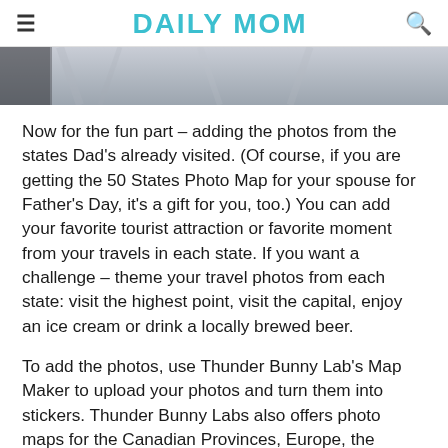DAILY MOM
[Figure (photo): Partial photo strip showing gray textured fabric or map material at the top of the page]
Now for the fun part – adding the photos from the states Dad's already visited. (Of course, if you are getting the 50 States Photo Map for your spouse for Father's Day, it's a gift for you, too.) You can add your favorite tourist attraction or favorite moment from your travels in each state. If you want a challenge – theme your travel photos from each state: visit the highest point, visit the capital, enjoy an ice cream or drink a locally brewed beer.
To add the photos, use Thunder Bunny Lab's Map Maker to upload your photos and turn them into stickers. Thunder Bunny Labs also offers photo maps for the Canadian Provinces, Europe, the Caribbean Islands, and Seven Continents. They also offer maps of stadiums, national parks, or individual state maps, so you can make multiple